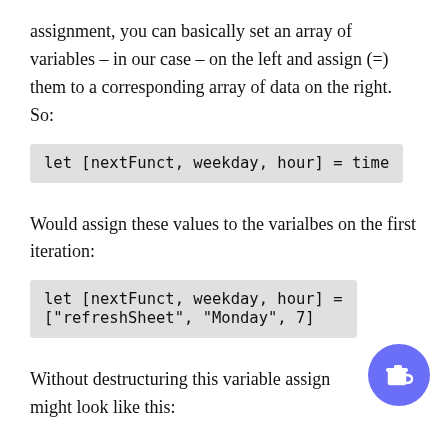assignment, you can basically set an array of variables – in our case – on the left and assign (=) them to a corresponding array of data on the right. So:
let [nextFunct, weekday, hour] = time
Would assign these values to the varialbes on the first iteration:
let [nextFunct, weekday, hour] =
["refreshSheet", "Monday", 7]
Without destructuring this variable assign might look like this: